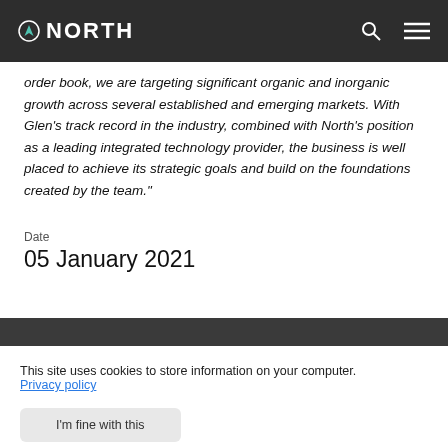NORTH
order book, we are targeting significant organic and inorganic growth across several established and emerging markets. With Glen's track record in the industry, combined with North's position as a leading integrated technology provider, the business is well placed to achieve its strategic goals and build on the foundations created by the team."
Date
05 January 2021
This site uses cookies to store information on your computer.
Privacy policy
I'm fine with this